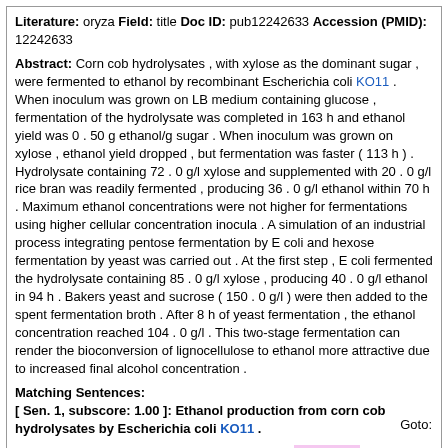Literature: oryza Field: title Doc ID: pub12242633 Accession (PMID): 12242633
Abstract: Corn cob hydrolysates , with xylose as the dominant sugar , were fermented to ethanol by recombinant Escherichia coli KO11 . When inoculum was grown on LB medium containing glucose , fermentation of the hydrolysate was completed in 163 h and ethanol yield was 0 . 50 g ethanol/g sugar . When inoculum was grown on xylose , ethanol yield dropped , but fermentation was faster ( 113 h ) . Hydrolysate containing 72 . 0 g/l xylose and supplemented with 20 . 0 g/l rice bran was readily fermented , producing 36 . 0 g/l ethanol within 70 h . Maximum ethanol concentrations were not higher for fermentations using higher cellular concentration inocula . A simulation of an industrial process integrating pentose fermentation by E coli and hexose fermentation by yeast was carried out . At the first step , E coli fermented the hydrolysate containing 85 . 0 g/l xylose , producing 40 . 0 g/l ethanol in 94 h . Bakers yeast and sucrose ( 150 . 0 g/l ) were then added to the spent fermentation broth . After 8 h of yeast fermentation , the ethanol concentration reached 104 . 0 g/l . This two-stage fermentation can render the bioconversion of lignocellulose to ethanol more attractive due to increased final alcohol concentration .
Matching Sentences:
[ Sen. 1, subscore: 1.00 ]: Ethanol production from corn cob hydrolysates by Escherichia coli KO11 .
Supplemental links/files: reference in endnote | online text | related articles | pubmed citation
Goto: